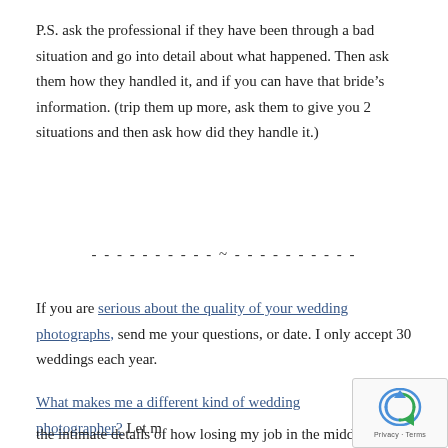P.S. ask the professional if they have been through a bad situation and go into detail about what happened. Then ask them how they handled it, and if you can have that bride's information. (trip them up more, ask them to give you 2 situations and then ask how did they handle it.)
- - - - - - - - - - ~ - - - - - - - - - -
If you are serious about the quality of your wedding photographs, send me your questions, or date. I only accept 30 weddings each year.
What makes me a different kind of wedding photographer? Let me share the intimate details of how losing my job in the middle of planning my